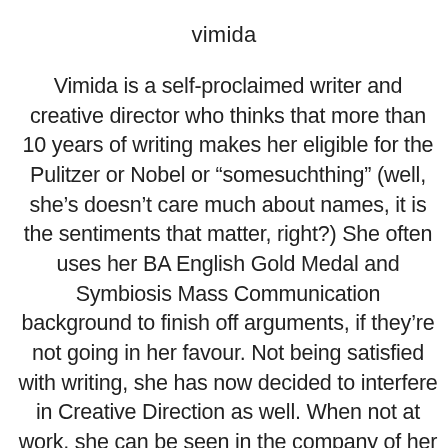vimida
Vimida is a self-proclaimed writer and creative director who thinks that more than 10 years of writing makes her eligible for the Pulitzer or Nobel or “somesuchthing” (well, she’s doesn’t care much about names, it is the sentiments that matter, right?) She often uses her BA English Gold Medal and Symbiosis Mass Communication background to finish off arguments, if they’re not going in her favour. Not being satisfied with writing, she has now decided to interfere in Creative Direction as well. When not at work, she can be seen in the company of her son, who has the uphill task